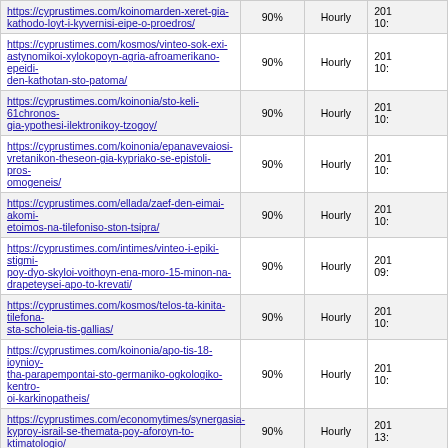| URL | Score | Frequency | Date |
| --- | --- | --- | --- |
| https://cyprustimes.com/koinomarden-xeret-gia-kathodo-loyt-i-kyvernisi-eipe-o-proedros/ | 90% | Hourly | 201 10: |
| https://cyprustimes.com/kosmos/vinteo-sok-exi-astynomikoi-xylokopoyn-agria-afroamerikano-epeidi-den-kathotan-sto-patoma/ | 90% | Hourly | 201 10: |
| https://cyprustimes.com/koinonia/sto-keli-61chronos-gia-ypothesi-ilektronikoy-tzogoy/ | 90% | Hourly | 201 10: |
| https://cyprustimes.com/koinonia/epanavevaiosi-vretanikon-theseon-gia-kypriako-se-epistoli-pros-omogeneis/ | 90% | Hourly | 201 10: |
| https://cyprustimes.com/ellada/zaef-den-eimai-akomi-etoimos-na-tilefoniso-ston-tsipra/ | 90% | Hourly | 201 10: |
| https://cyprustimes.com/intimes/vinteo-i-epiki-stigmi-poy-dyo-skyloi-voithoyn-ena-moro-15-minon-na-drapeteysei-apo-to-krevati/ | 90% | Hourly | 201 09: |
| https://cyprustimes.com/kosmos/telos-ta-kinita-tilefona-sta-scholeia-tis-gallias/ | 90% | Hourly | 201 10: |
| https://cyprustimes.com/koinonia/apo-tis-18-ioynioy-tha-parapempontai-sto-germaniko-ogkologiko-kentro-oi-karkinopatheis/ | 90% | Hourly | 201 10: |
| https://cyprustimes.com/economytimes/synergasia-kyproy-israil-se-themata-poy-aforoyn-to-ktimatologio/ | 90% | Hourly | 201 13: |
| https://cyprustimes.com/koinonia/epitychimeni-symmetochi-tis-kyproy-se-askisi-kyvernoasfaleias/ | 90% | Hourly | 201 10: |
| https://cyprustimes.com/kosmos/indoi-epistimones-dimioyrgisan-syskeyi-poy-tha-prostateyei-tis-gynaikes-apo-epitheseis/ | 90% | Hourly | 201 10: |